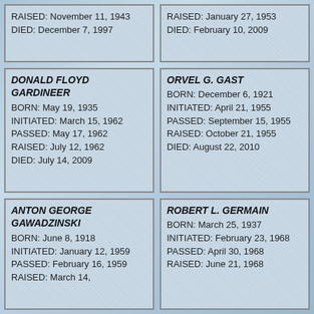RAISED: November 11, 1943
DIED: December 7, 1997
RAISED: January 27, 1953
DIED: February 10, 2009
DONALD FLOYD GARDINEER
BORN: May 19, 1935
INITIATED: March 15, 1962
PASSED: May 17, 1962
RAISED: July 12, 1962
DIED: July 14, 2009
ORVEL G. GAST
BORN: December 6, 1921
INITIATED: April 21, 1955
PASSED: September 15, 1955
RAISED: October 21, 1955
DIED: August 22, 2010
ANTON GEORGE GAWADZINSKI
BORN: June 8, 1918
INITIATED: January 12, 1959
PASSED: February 16, 1959
RAISED: March 14,
ROBERT L. GERMAIN
BORN: March 25, 1937
INITIATED: February 23, 1968
PASSED: April 30, 1968
RAISED: June 21, 1968